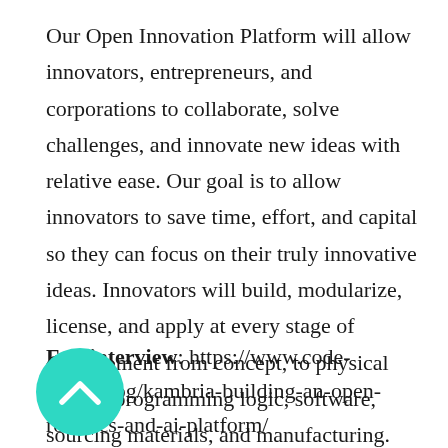Our Open Innovation Platform will allow innovators, entrepreneurs, and corporations to collaborate, solve challenges, and innovate new ideas with relative ease. Our goal is to allow innovators to save time, effort, and capital so they can focus on their truly innovative ideas. Innovators will build, modularize, license, and apply at every stage of development from concept, to physical design, programming logic, software, sourcing materials, and manufacturing.
Full interview: https://www.code-n.org/blog/kambria-building-an-open-robotics-and-ai-platform/
[Figure (illustration): Teal circular button with upward-pointing chevron arrow icon]